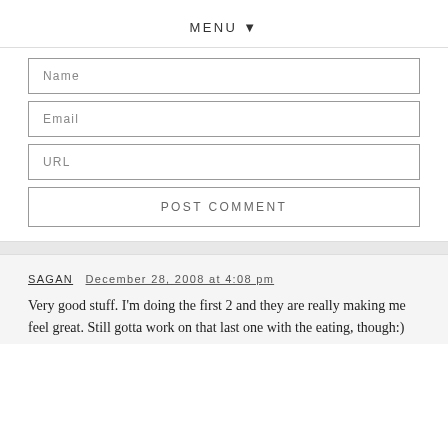MENU ▼
Name
Email
URL
POST COMMENT
SAGAN  December 28, 2008 at 4:08 pm
Very good stuff. I'm doing the first 2 and they are really making me feel great. Still gotta work on that last one with the eating, though:)